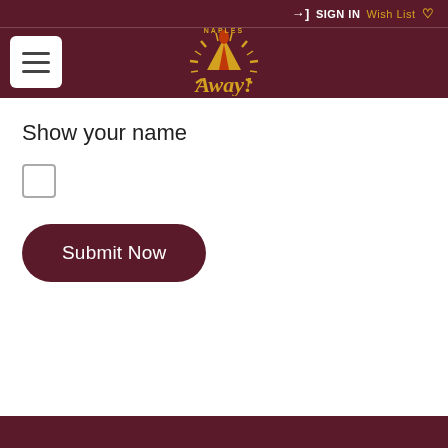SIGN IN Wish List
[Figure (logo): Naples Away logo with stylized text and flame/sun graphic on dark maroon header background]
Show your name
[checkbox]
Submit Now